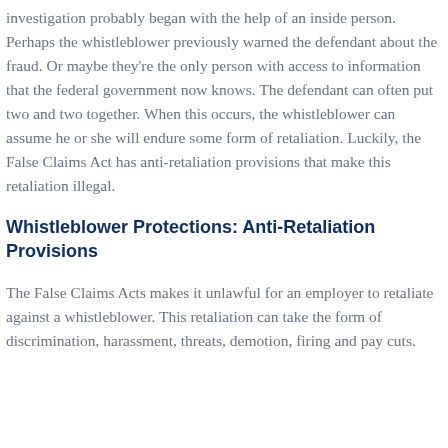investigation probably began with the help of an inside person. Perhaps the whistleblower previously warned the defendant about the fraud. Or maybe they're the only person with access to information that the federal government now knows. The defendant can often put two and two together. When this occurs, the whistleblower can assume he or she will endure some form of retaliation. Luckily, the False Claims Act has anti-retaliation provisions that make this retaliation illegal.
Whistleblower Protections: Anti-Retaliation Provisions
The False Claims Acts makes it unlawful for an employer to retaliate against a whistleblower. This retaliation can take the form of discrimination, harassment, threats, demotion, firing and pay cuts.